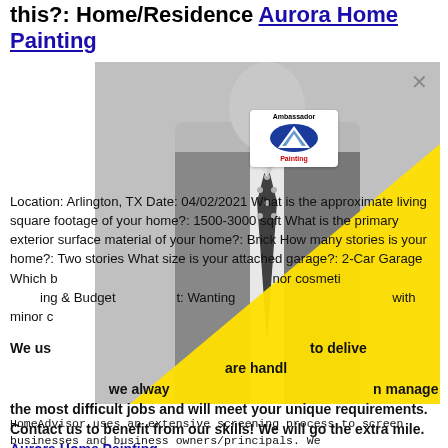this?: Home/Residence Aurora Home Painting
[Figure (photo): Grayscale photo of a man in a suit with polka-dot tie and pocket square, overlaid with a yellow triangle and Ambassador Painting logo badge. A close (X) button appears in the upper right of the overlay.]
Location: Arlington, TX Date: 04/02/2021 What is the approximate living square footage of your home?: 1500-3000 sqft What is the primary exterior surface material of your home?: Brick How many stories is your home?: Two stories What size is your attached garage?: 2-Car Garage Which best describes your painting project?: minor cosmetic ... ing & Budget... : Wanting... with minor c...
We us... to delive... are handl... we alway... n manage the most difficult jobs and will meet your unique requirements. Contact us to benefit from our skills! We will go the extra mile. Aurora Home Painting
HomeAdvisor uses an extensive screening process to screen businesses and business owners/principals. We